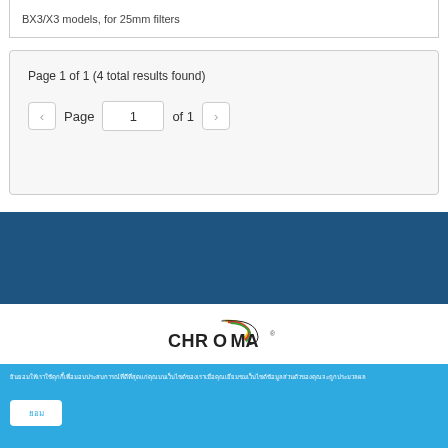BX3/X3 models, for 25mm filters
Page 1 of 1 (4 total results found)
Page 1 of 1
[Figure (logo): Chroma Technology logo with multicolor arc and bold CHROMA text]
Cookie consent text (Thai script)
ยอม (Accept button)